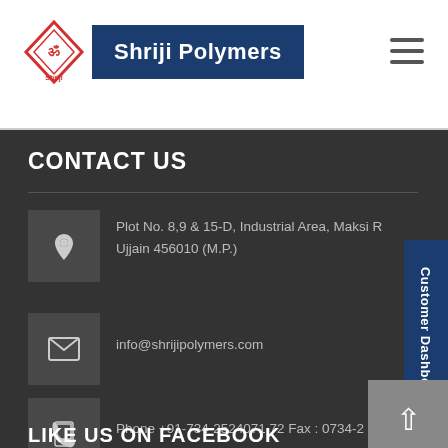Shriji Polymers
CONTACT US
Plot No. 8,9 & 15-D, Industrial Area, Maksi Road, Ujjain 456010 (M.P.)
info@shrijipolymers.com
Phone +91-734-2524071,72 Fax : 0734-2
LIKE US ON FACEBOOK